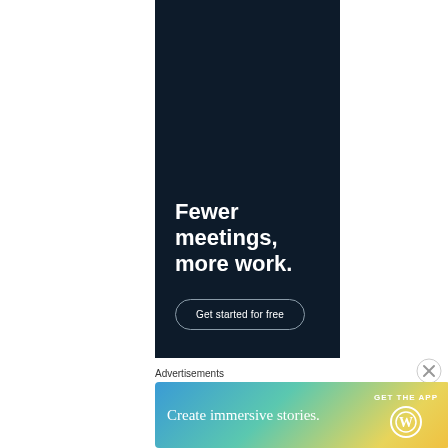[Figure (infographic): Dark navy advertisement banner with bold white text reading 'Fewer meetings, more work.' and a rounded 'Get started for free' button below.]
Advertisements
[Figure (infographic): Colorful gradient advertisement banner (blue to green to yellow) with white text 'Create immersive stories.' on left, 'GET THE APP' text and WordPress logo on right.]